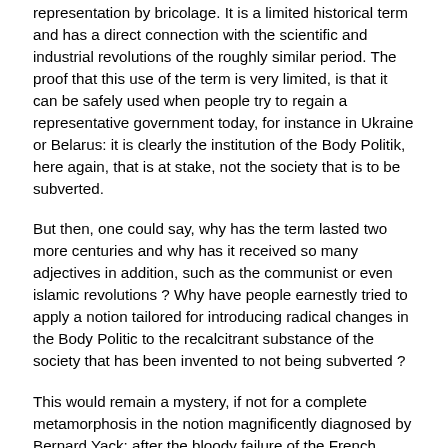representation by bricolage. It is a limited historical term and has a direct connection with the scientific and industrial revolutions of the roughly similar period. The proof that this use of the term is very limited, is that it can be safely used when people try to regain a representative government today, for instance in Ukraine or Belarus: it is clearly the institution of the Body Politik, here again, that is at stake, not the society that is to be subverted.
But then, one could say, why has the term lasted two more centuries and why has it received so many adjectives in addition, such as the communist or even islamic revolutions ? Why have people earnestly tried to apply a notion tailored for introducing radical changes in the Body Politic to the recalcitrant substance of the society that has been invented to not being subverted ?
This would remain a mystery, if not for a complete metamorphosis in the notion magnificently diagnosed by Bernard Yack: after the bloody failure of the French revolution, something happened that entirely transformed the notion from a political to a total revolution [6]. Total  does not mean “at least not immediately” totalitarianism “this would remain the "achievement" of the 20th century” but rather it implies the amazing idea that the people itself, the stuff out of which the other 18th century revolutions had been made, where not of a good enough quality. This time, it is people, man itself in its physiological, psychological, legal make up which should be entirely remade so as to render possible a "real" revolution. To change the Body Politic and to end up with a mere